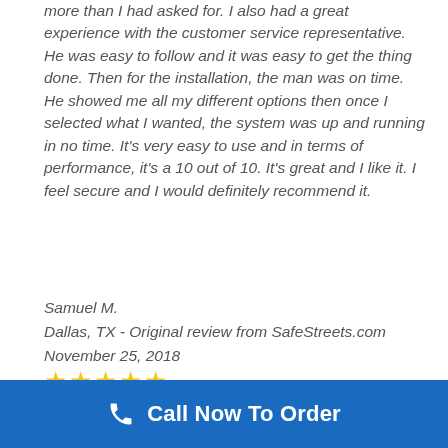more than I had asked for. I also had a great experience with the customer service representative. He was easy to follow and it was easy to get the thing done. Then for the installation, the man was on time. He showed me all my different options then once I selected what I wanted, the system was up and running in no time. It's very easy to use and in terms of performance, it's a 10 out of 10. It's great and I like it. I feel secure and I would definitely recommend it.
Samuel M.
Dallas, TX - Original review from SafeStreets.com
November 25, 2018
[Figure (other): Five gold star rating icons]
Call Now To Order